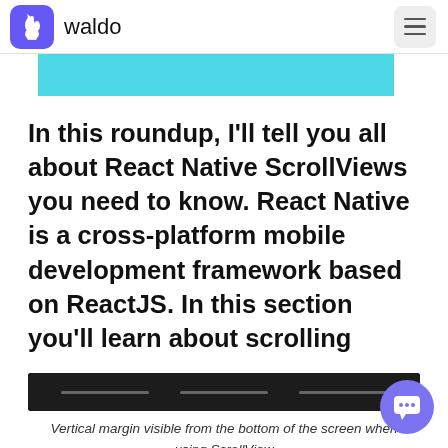waldo
[Figure (screenshot): Partial screenshot showing a cyan/blue strip, part of a webpage content area]
In this roundup, I'll tell you all about React Native ScrollViews you need to know. React Native is a cross-platform mobile development framework based on ReactJS. In this section you'll learn about scrolling
[Figure (screenshot): Screenshot showing a dark toolbar/navigation bar with three tab indicators]
Vertical margin visible from the bottom of the screen when using ScrollView